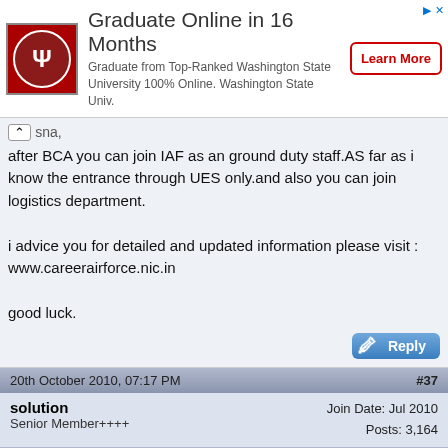[Figure (infographic): Advertisement banner: Washington State University logo, 'Graduate Online in 16 Months', subtitle text, and 'Learn More' button]
after BCA you can join IAF as an ground duty staff.AS far as i know the entrance through UES only.and also you can join logistics department.

i advice you for detailed and updated information please visit : www.careerairforce.nic.in

good luck.
20th October 2010, 07:17 PM  #37
solution
Senior Member++++
Join Date: Jul 2010
Posts: 3,164
Re: What is the scope in Indian Air Force after BCA ?
hello dear

definately BCA students can join Indian Air Force .

BCA students join Indian Air Force after BCA